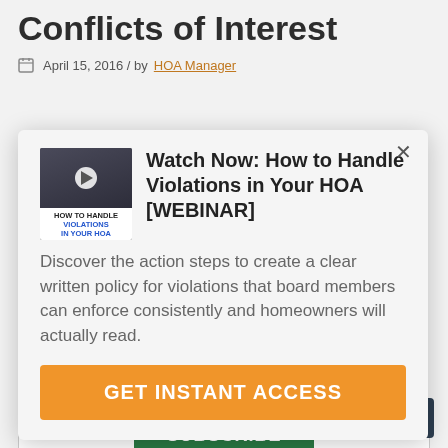Conflicts of Interest
April 15, 2016 / by HOA Manager
[Figure (screenshot): Modal popup with thumbnail image of a webinar video titled 'Watch Now: How to Handle Violations in Your HOA [WEBINAR]', description text, and orange CTA button 'GET INSTANT ACCESS']
Email*
SUBSCRIBE